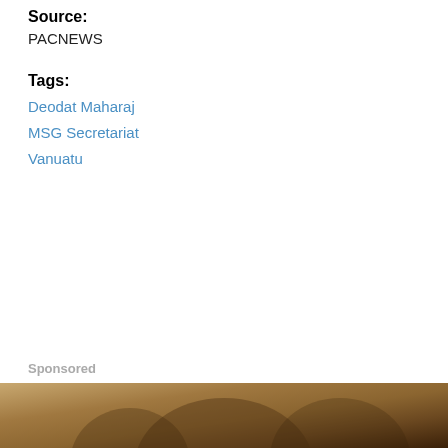Source: PACNEWS
Tags: Deodat Maharaj, MSG Secretariat, Vanuatu
Sponsored
[Figure (photo): Bottom portion of a photograph showing a person, partially cut off, with warm brown/golden tones.]